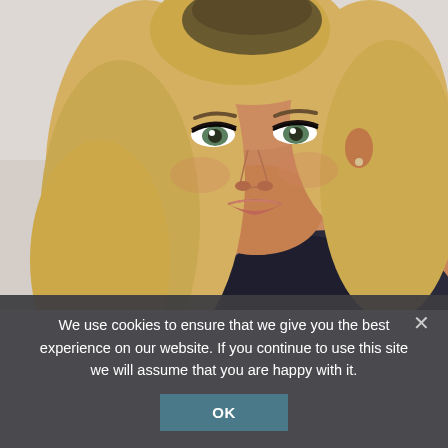[Figure (photo): Close-up photo of a young woman with long blonde hair, green eyes, dark eye makeup, wearing a dark navy lace spaghetti-strap top, posing against a light grey background.]
We use cookies to ensure that we give you the best experience on our website. If you continue to use this site we will assume that you are happy with it.
OK